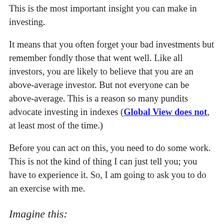This is the most important insight you can make in investing.
It means that you often forget your bad investments but remember fondly those that went well. Like all investors, you are likely to believe that you are an above-average investor. But not everyone can be above-average. This is a reason so many pundits advocate investing in indexes (Global View does not, at least most of the time.)
Before you can act on this, you need to do some work. This is not the kind of thing I can just tell you; you have to experience it. So, I am going to ask you to do an exercise with me.
Imagine this:
On the first day, I come with a gun in hand, taking money. You have two choices: You can either give me